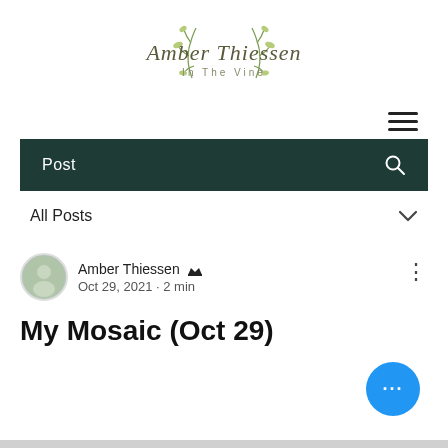[Figure (logo): Amber Thiessen In The Vine logo with vine/leaf illustration]
[Figure (other): Hamburger menu icon (three horizontal lines)]
Post
All Posts
Amber Thiessen [crown icon] Oct 29, 2021 · 2 min
My Mosaic (Oct 29)